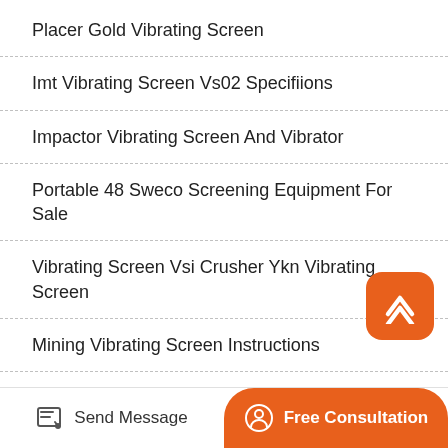Placer Gold Vibrating Screen
Imt Vibrating Screen Vs02 Specifiions
Impactor Vibrating Screen And Vibrator
Portable 48 Sweco Screening Equipment For Sale
Vibrating Screen Vsi Crusher Ykn Vibrating Screen
Mining Vibrating Screen Instructions
Crushing And Screening Equipment Market Share
[Figure (other): Back to top button - orange rounded square with upward chevron arrow]
Send Message
Free Consultation